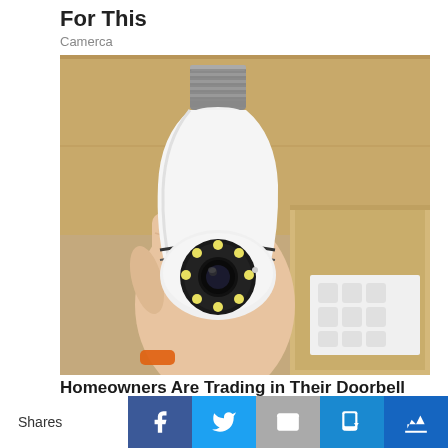For This
Camerca
[Figure (photo): A hand holding a white light-bulb-shaped security camera with an E27 screw base at top, a pan-tilt camera head with circular array of LEDs and central lens, against a cardboard box background.]
Homeowners Are Trading in Their Doorbell Cams
Shares | Facebook | Twitter | Email | SMS | Crown